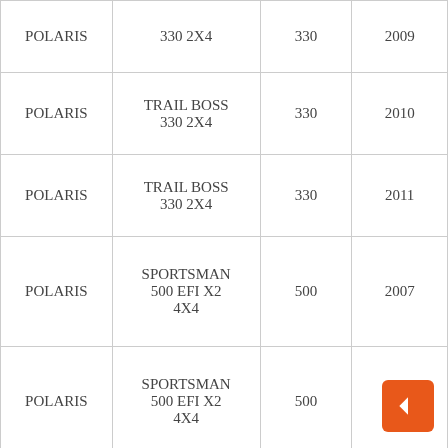| Make | Model | CC | Year |
| --- | --- | --- | --- |
| POLARIS | 330 2X4 | 330 | 2009 |
| POLARIS | TRAIL BOSS 330 2X4 | 330 | 2010 |
| POLARIS | TRAIL BOSS 330 2X4 | 330 | 2011 |
| POLARIS | SPORTSMAN 500 EFI X2 4X4 | 500 | 2007 |
| POLARIS | SPORTSMAN 500 EFI X2 4X4 | 500 | 2008 |